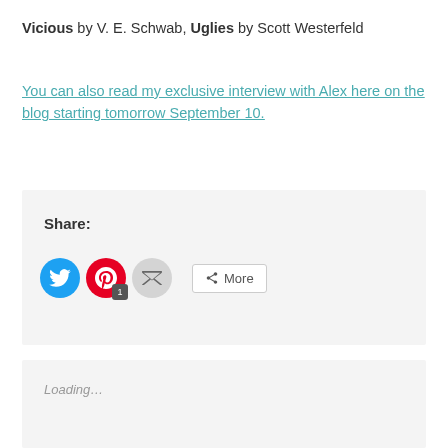Vicious by V. E. Schwab, Uglies by Scott Westerfeld
You can also read my exclusive interview with Alex here on the blog starting tomorrow September 10.
[Figure (other): Share buttons section with Share: label, Twitter (blue circle), Pinterest (red circle with badge '1'), Email (grey circle), and More button]
Loading…